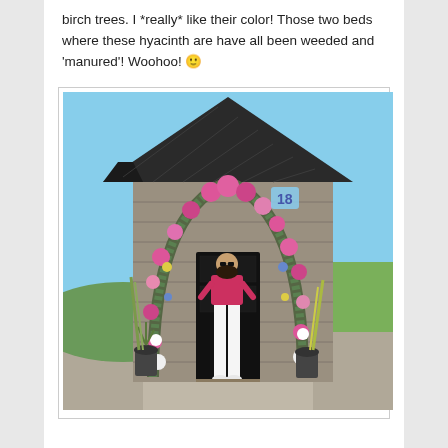birch trees. I *really* like their color! Those two beds where these hyacinth are have all been weeded and 'manured'! Woohoo! 🙂
[Figure (photo): A young woman in a red/pink crop top and white trousers standing in front of a stone building door decorated with a large floral arch made of pink flowers, greenery, and a blue '18' balloon/sign. Sunny day with blue sky visible.]